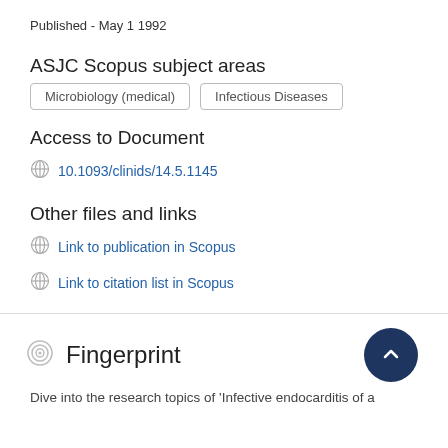Published - May 1 1992
ASJC Scopus subject areas
Microbiology (medical)
Infectious Diseases
Access to Document
10.1093/clinids/14.5.1145
Other files and links
Link to publication in Scopus
Link to citation list in Scopus
Fingerprint
Dive into the research topics of 'Infective endocarditis of a